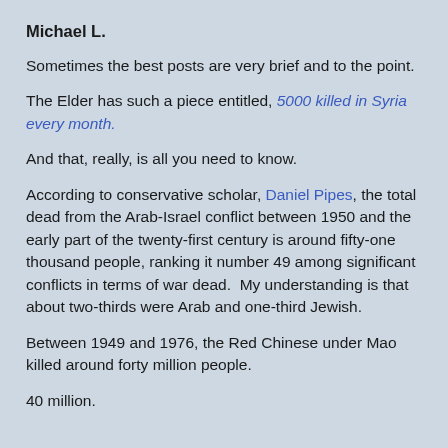Michael L.
Sometimes the best posts are very brief and to the point.
The Elder has such a piece entitled, 5000 killed in Syria every month.
And that, really, is all you need to know.
According to conservative scholar, Daniel Pipes, the total dead from the Arab-Israel conflict between 1950 and the early part of the twenty-first century is around fifty-one thousand people, ranking it number 49 among significant conflicts in terms of war dead.  My understanding is that about two-thirds were Arab and one-third Jewish.
Between 1949 and 1976, the Red Chinese under Mao killed around forty million people.
40 million.